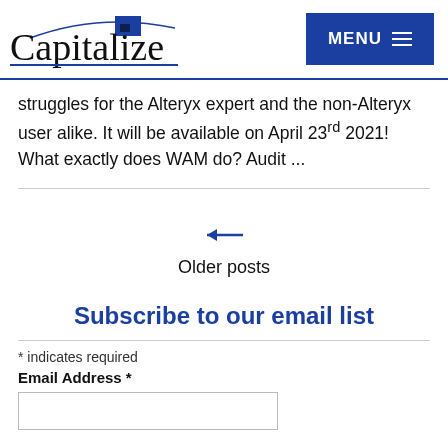Capitalize | MENU
struggles for the Alteryx expert and the non-Alteryx user alike. It will be available on April 23rd 2021! What exactly does WAM do? Audit ...
← Older posts
Subscribe to our email list
* indicates required
Email Address *